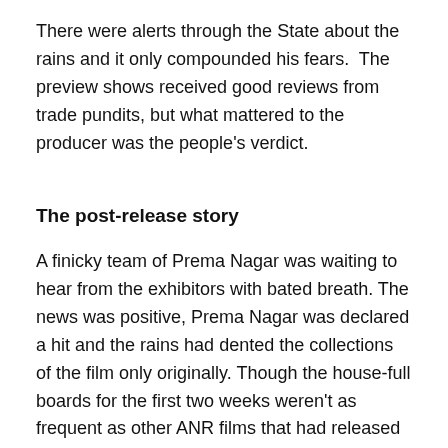There were alerts through the State about the rains and it only compounded his fears.  The preview shows received good reviews from trade pundits, but what mattered to the producer was the people's verdict.
The post-release story
A finicky team of Prema Nagar was waiting to hear from the exhibitors with bated breath. The news was positive, Prema Nagar was declared a hit and the rains had dented the collections of the film only originally. Though the house-full boards for the first two weeks weren't as frequent as other ANR films that had released then, the film picked up tremendously from the third week. There were certain logical issues in the film, the treatment was told to be loud, but the script was strong enough that nothing of this mattered.